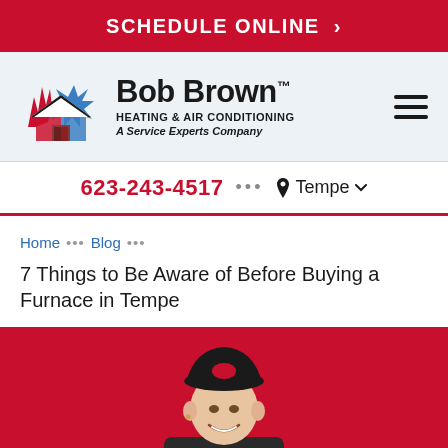SCHEDULE ONLINE >
[Figure (logo): Bob Brown Heating & Air Conditioning - A Service Experts Company logo with flame/snowflake house icon]
623-243-4517 ••• Tempe
Home ••• Blog •••
7 Things to Be Aware of Before Buying a Furnace in Tempe
[Figure (photo): Female technician wearing a dark cap with Service Experts logo, smiling, on red background]